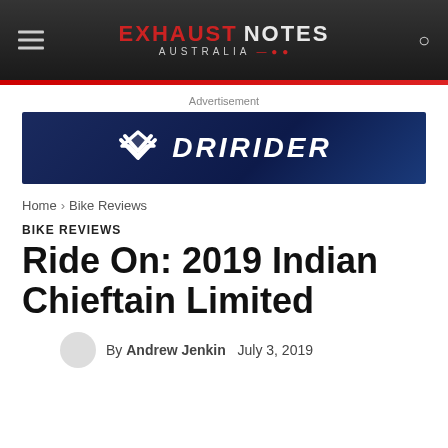EXHAUST NOTES AUSTRALIA
Advertisement
[Figure (logo): DRIRIDER advertisement banner with white chevron logo on dark blue background]
Home › Bike Reviews
BIKE REVIEWS
Ride On: 2019 Indian Chieftain Limited
By Andrew Jenkin   July 3, 2019